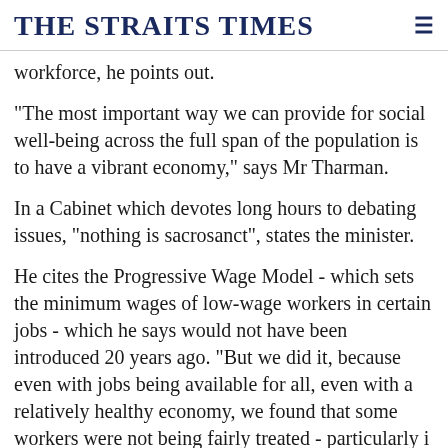THE STRAITS TIMES
workforce, he points out.
"The most important way we can provide for social well-being across the full span of the population is to have a vibrant economy," says Mr Tharman.
In a Cabinet which devotes long hours to debating issues, "nothing is sacrosanct", states the minister.
He cites the Progressive Wage Model - which sets the minimum wages of low-wage workers in certain jobs - which he says would not have been introduced 20 years ago. "But we did it, because even with jobs being available for all, even with a relatively healthy economy, we found that some workers were not being fairly treated - particularly in industries where they are a product of outsourcing"